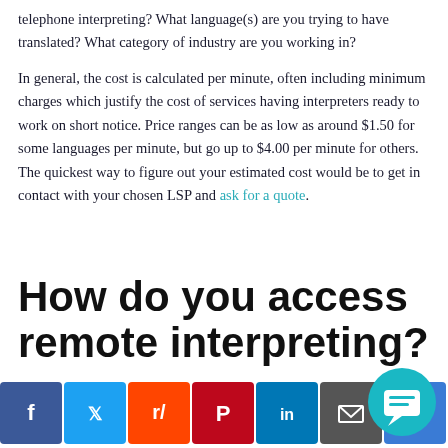telephone interpreting? What language(s) are you trying to have translated? What category of industry are you working in?
In general, the cost is calculated per minute, often including minimum charges which justify the cost of services having interpreters ready to work on short notice. Price ranges can be as low as around $1.50 for some languages per minute, but go up to $4.00 per minute for others. The quickest way to figure out your estimated cost would be to get in contact with your chosen LSP and ask for a quote.
How do you access remote interpreting?
[Figure (other): Social media sharing bar with icons for Facebook, Twitter, Reddit, Pinterest, LinkedIn, Email, and More, plus a teal chat bubble widget in the bottom right corner.]